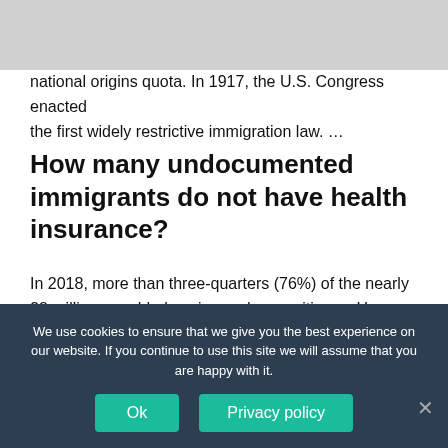What is the minimum income for Covered California?
national origins quota. In 1917, the U.S. Congress enacted the first widely restrictive immigration law. …
How many undocumented immigrants do not have health insurance?
In 2018, more than three-quarters (76%) of the nearly 28 million nonelderly uninsured were citizens. However, among the nonelderly population, 23% of lawfully present immigrants and more than four in ten (45%)
undocumented immigrants were uninsured, compared to
We use cookies to ensure that we give you the best experience on our website. If you continue to use this site we will assume that you are happy with it.